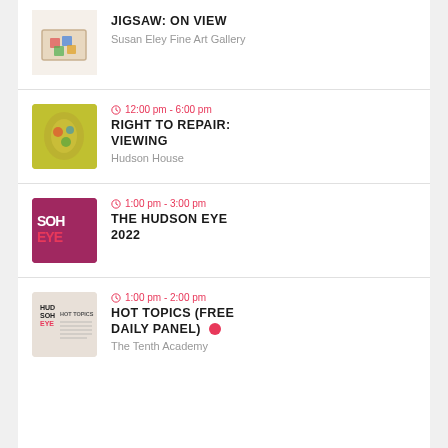[Figure (photo): Jigsaw puzzle box with colorful pieces]
JIGSAW: ON VIEW
Susan Eley Fine Art Gallery
12:00 pm - 6:00 pm
RIGHT TO REPAIR: VIEWING
Hudson House
1:00 pm - 3:00 pm
THE HUDSON EYE 2022
1:00 pm - 2:00 pm
HOT TOPICS (FREE DAILY PANEL)
The Tenth Academy